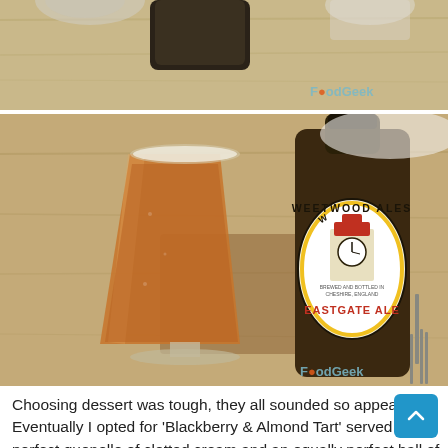[Figure (photo): Top portion of a table scene with glasses and items on a wooden surface, watermarked FoodGeek]
[Figure (photo): A glass of amber ale next to a bottle of Weetwood Ales Eastgate Ale on a wooden table, watermarked FoodGeek]
Choosing dessert was tough, they all sounded so appealing. Eventually I opted for 'Blackberry & Almond Tart' served with a perfect quenelle of clotted cream and an equally perfect ball of shiny, cherry sorbet. Needless to say the tart was really good but it